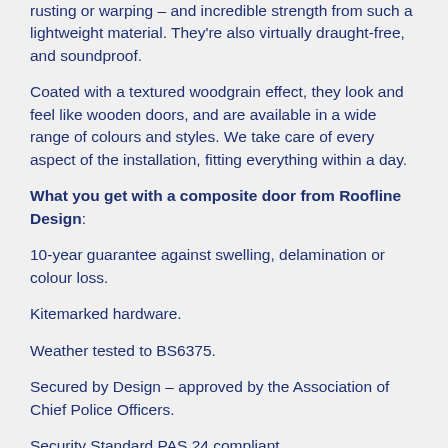rusting or warping – and incredible strength from such a lightweight material. They're also virtually draught-free, and soundproof.
Coated with a textured woodgrain effect, they look and feel like wooden doors, and are available in a wide range of colours and styles. We take care of every aspect of the installation, fitting everything within a day.
What you get with a composite door from Roofline Design:
10-year guarantee against swelling, delamination or colour loss.
Kitemarked hardware.
Weather tested to BS6375.
Secured by Design – approved by the Association of Chief Police Officers.
Security Standard PAS 24 compliant.